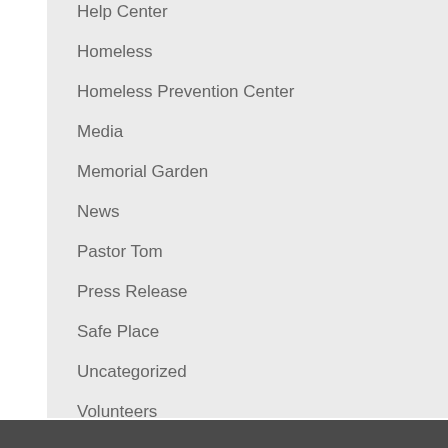Help Center
Homeless
Homeless Prevention Center
Media
Memorial Garden
News
Pastor Tom
Press Release
Safe Place
Uncategorized
Volunteers